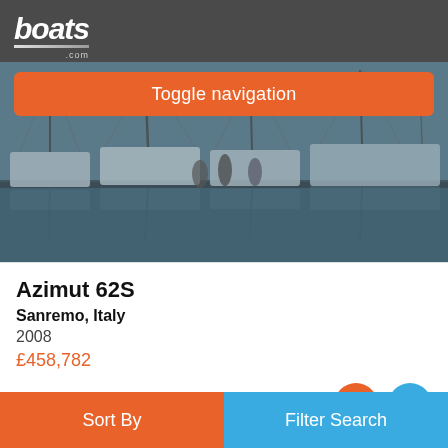boats.com
Toggle navigation
[Figure (photo): Marina with sailboats moored in water, dark teal/blue color tone, masts and rigging visible]
Azimut 62S
Sanremo, Italy
2008
£458,782
Seller ABYS Antibes Office
Advertisement
Sort By | Filter Search